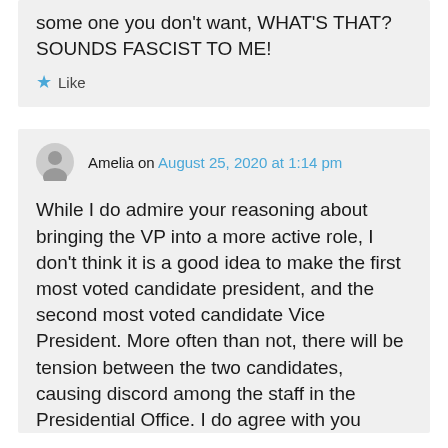some one you don't want, WHAT'S THAT? SOUNDS FASCIST TO ME!
★ Like
Amelia on August 25, 2020 at 1:14 pm
While I do admire your reasoning about bringing the VP into a more active role, I don't think it is a good idea to make the first most voted candidate president, and the second most voted candidate Vice President. More often than not, there will be tension between the two candidates, causing discord among the staff in the Presidential Office. I do agree with you